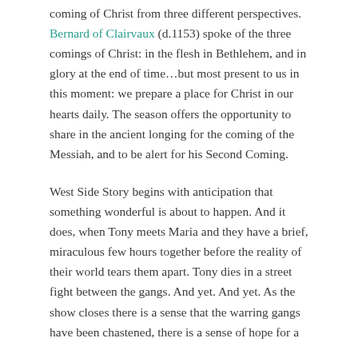coming of Christ from three different perspectives. Bernard of Clairvaux (d.1153) spoke of the three comings of Christ: in the flesh in Bethlehem, and in glory at the end of time…but most present to us in this moment: we prepare a place for Christ in our hearts daily. The season offers the opportunity to share in the ancient longing for the coming of the Messiah, and to be alert for his Second Coming.
West Side Story begins with anticipation that something wonderful is about to happen. And it does, when Tony meets Maria and they have a brief, miraculous few hours together before the reality of their world tears them apart. Tony dies in a street fight between the gangs. And yet. And yet. As the show closes there is a sense that the warring gangs have been chastened, there is a sense of hope for a